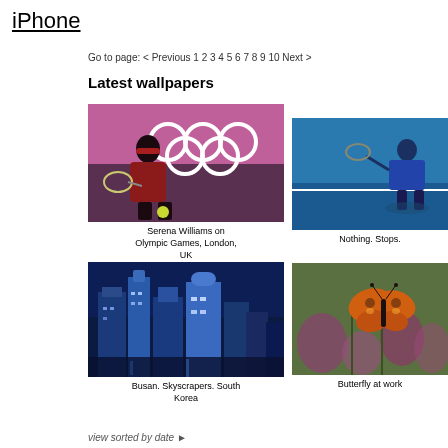iPhone
Go to page: < Previous 1 2 3 4 5 6 7 8 9 10 Next >
Latest wallpapers
[Figure (photo): Serena Williams playing tennis at Olympic Games, London UK — action shot with pink Olympic rings banner in background]
Serena Williams on Olympic Games, London, UK
[Figure (photo): Tennis player in blue outfit hitting a shot on blue court — partially visible, cropped on right edge]
Nothing. Stops.
[Figure (photo): Busan South Korea skyscrapers at night with blue lighting and aerial city view]
Busan. Skyscrapers. South Korea
[Figure (photo): Butterfly on flowers in garden — orange butterfly on purple/pink flowers, close-up macro shot]
Butterfly at work
view sorted by date ▶